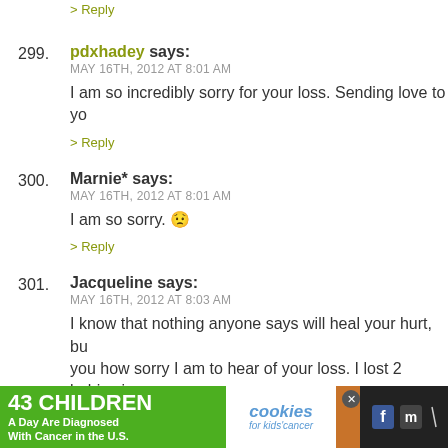> Reply
299. pdxhadey says:
MAY 16TH, 2012 AT 8:01 AM
I am so incredibly sorry for your loss. Sending love to yo
> Reply
300. Marnie* says:
MAY 16TH, 2012 AT 8:01 AM
I am so sorry. 😞
> Reply
301. Jacqueline says:
MAY 16TH, 2012 AT 8:03 AM
I know that nothing anyone says will heal your hurt, bu you how sorry I am to hear of your loss. I lost 2 babies i absolutely devastating. I took a week off work, stayed h husband and son and just grieved. Of course, ow a...
[Figure (screenshot): Advertisement banner: '43 CHILDREN A Day Are Diagnosed With Cancer in the U.S.' with cookies for kids cancer and Let's Get Baking promotion]